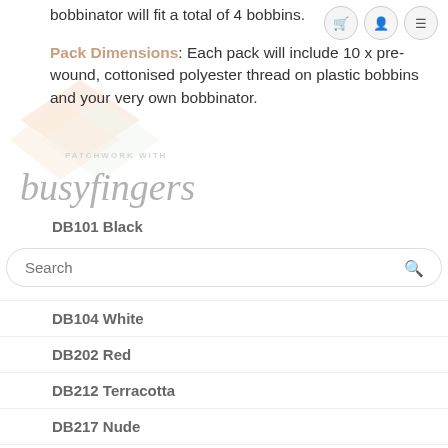bobbinator will fit a total of 4 bobbins.
Pack Dimensions: Each pack will include 10 x pre-wound, cottonised polyester thread on plastic bobbins and your very own bobbinator.
[Figure (logo): Busy Fingers patchwork logo with cursive text and geometric diamond watermark]
DB101 Black
Search
DB104 White
DB202 Red
DB212 Terracotta
DB217 Nude
DB205 Soft Pink
DB314 Lilac
DB319 Sky Blue
DB523 Mint Green